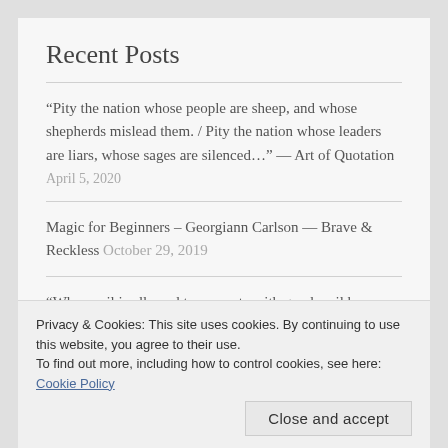Recent Posts
“Pity the nation whose people are sheep, and whose shepherds mislead them. / Pity the nation whose leaders are liars, whose sages are silenced…” — Art of Quotation
April 5, 2020
Magic for Beginners – Georgiann Carlson — Brave & Reckless October 29, 2019
“When evil is allowed to compete with good, evil has an emotional populist appeal that wins out unless good men
Privacy & Cookies: This site uses cookies. By continuing to use this website, you agree to their use.
To find out more, including how to control cookies, see here: Cookie Policy
Close and accept